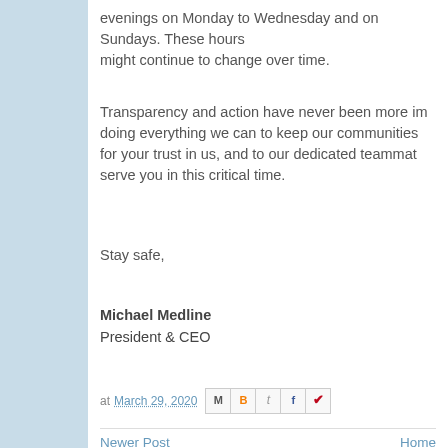evenings on Monday to Wednesday and on Sundays. These hours might continue to change over time.
Transparency and action have never been more important. We are doing everything we can to keep our communities safe. Thank you for your trust in us, and to our dedicated teammates who work to serve you in this critical time.
Stay safe,
Michael Medline
President & CEO
at March 29, 2020
Newer Post    Home